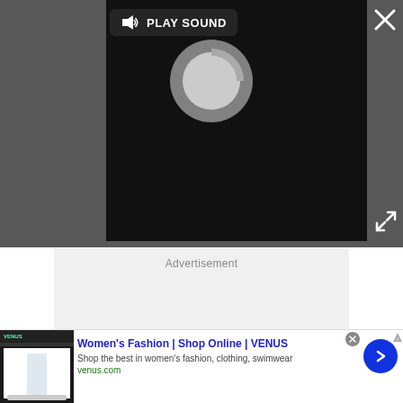[Figure (screenshot): Video player UI with dark grey background. A black video area shows a circular loading spinner (grey circle with lighter arc). In the top-left of the video area is a 'PLAY SOUND' button with a speaker icon. Top-right corner has a white X close button. Bottom-right corner has a white expand/fullscreen icon.]
Advertisement
[Figure (screenshot): Advertisement banner for Women's Fashion | Shop Online | VENUS. Shows a thumbnail of the VENUS website with a woman in white outfit. Text: 'Women's Fashion | Shop Online | VENUS', 'Shop the best in women's fashion, clothing, swimwear', 'venus.com'. Blue circle arrow button on right. Small AdChoices icon top-right. Grey X close button top-right.]